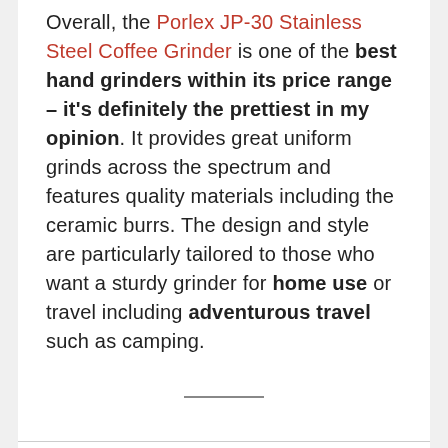Overall, the Porlex JP-30 Stainless Steel Coffee Grinder is one of the best hand grinders within its price range – it's definitely the prettiest in my opinion. It provides great uniform grinds across the spectrum and features quality materials including the ceramic burrs. The design and style are particularly tailored to those who want a sturdy grinder for home use or travel including adventurous travel such as camping.